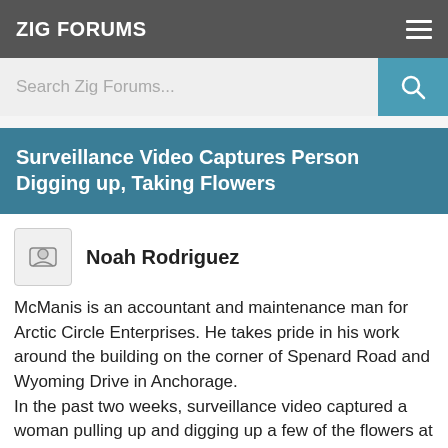ZIG FORUMS
Search Zig Forums...
Surveillance Video Captures Person Digging up, Taking Flowers
Noah Rodriguez
McManis is an accountant and maintenance man for Arctic Circle Enterprises. He takes pride in his work around the building on the corner of Spenard Road and Wyoming Drive in Anchorage.
In the past two weeks, surveillance video captured a woman pulling up and digging up a few of the flowers at the front of the building.
He said 36 hours later, another video captures a man and a woman who appeared to be yelling at one another. The surveillance tape then shows the woman pulling flowers out and throwing them on the ground.